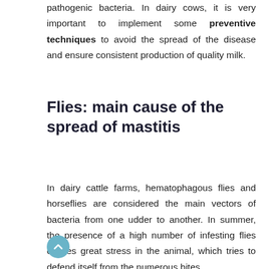pathogenic bacteria. In dairy cows, it is very important to implement some preventive techniques to avoid the spread of the disease and ensure consistent production of quality milk.
Flies: main cause of the spread of mastitis
In dairy cattle farms, hematophagous flies and horseflies are considered the main vectors of bacteria from one udder to another. In summer, the presence of a high number of infesting flies causes great stress in the animal, which tries to defend itself from the numerous bites.